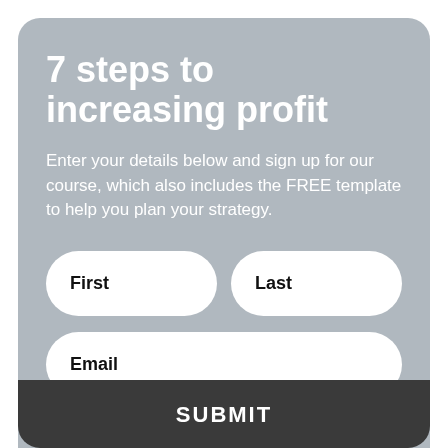7 steps to increasing profit
Enter your details below and sign up for our course, which also includes the FREE template to help you plan your strategy.
[Figure (other): Form input field labeled 'First']
[Figure (other): Form input field labeled 'Last']
[Figure (other): Form input field labeled 'Email']
[Figure (other): Submit button labeled 'SUBMIT']